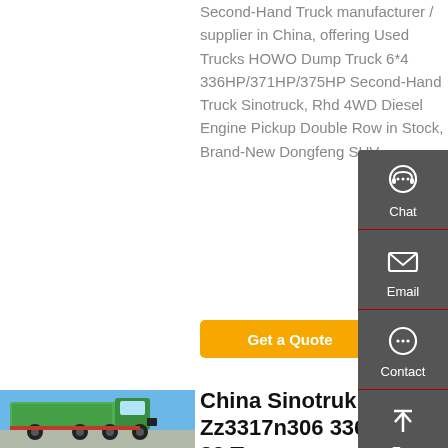Second-Hand Truck manufacturer / supplier in China, offering Used Trucks HOWO Dump Truck 6*4 336HP/371HP/375HP Second-Hand Truck Sinotruck, Rhd 4WD Diesel Engine Pickup Double Row in Stock, Brand-New Dongfeng SUV
[Figure (other): Orange 'Get a Quote' button]
[Figure (photo): Green Sinotruk HOWO dump truck parked outdoors]
China Sinotruk HOWO Zz3317n306 336HP 8X4 30 Ton
[Figure (infographic): Sidebar with Chat, Email, Contact, and Top navigation icons on dark grey background]